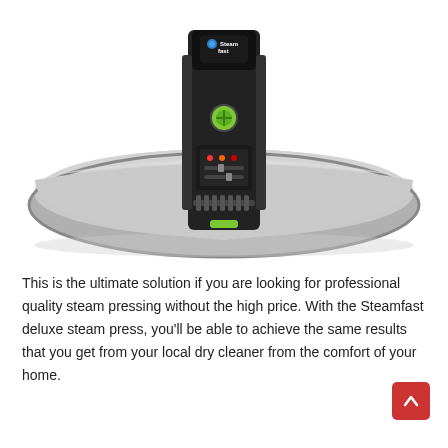[Figure (photo): A Steamfast deluxe steam press — a large silver oval pressing board with a black motorized pressing unit mounted across its center, featuring a green circular button/knob and control panel with indicator lights.]
This is the ultimate solution if you are looking for professional quality steam pressing without the high price. With the Steamfast deluxe steam press, you'll be able to achieve the same results that you get from your local dry cleaner from the comfort of your home.